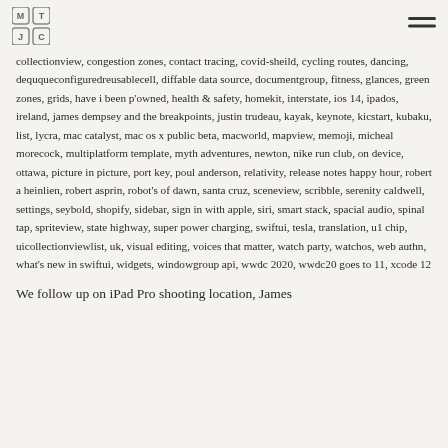MTC logo and hamburger menu
collectionview, congestion zones, contact tracing, covid-sheild, cycling routes, dancing, deququeconfiguredreusablecell, diffable data source, documentgroup, fitness, glances, green zones, grids, have i been p'owned, health & safety, homekit, interstate, ios 14, ipados, ireland, james dempsey and the breakpoints, justin trudeau, kayak, keynote, kicstart, kubaku, list, lycra, mac catalyst, mac os x public beta, macworld, mapview, memoji, micheal morecock, multiplatform template, myth adventures, newton, nike run club, on device, ottawa, picture in picture, port key, poul anderson, relativity, release notes happy hour, robert a heinlien, robert asprin, robot's of dawn, santa cruz, sceneview, scribble, serenity caldwell, settings, seybold, shopify, sidebar, sign in with apple, siri, smart stack, spacial audio, spinal tap, spriteview, state highway, super power charging, swiftui, tesla, translation, u1 chip, uicollectionviewlist, uk, visual editing, voices that matter, watch party, watchos, web authn, what's new in swiftui, widgets, windowgroup api, wwdc 2020, wwdc20 goes to 11, xcode 12
We follow up on iPad Pro shooting location, James